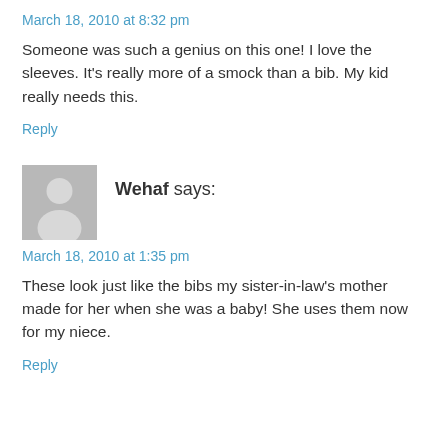March 18, 2010 at 8:32 pm
Someone was such a genius on this one! I love the sleeves. It's really more of a smock than a bib. My kid really needs this.
Reply
[Figure (illustration): Generic user avatar placeholder — grey silhouette of a person on a grey background]
Wehaf says:
March 18, 2010 at 1:35 pm
These look just like the bibs my sister-in-law's mother made for her when she was a baby! She uses them now for my niece.
Reply